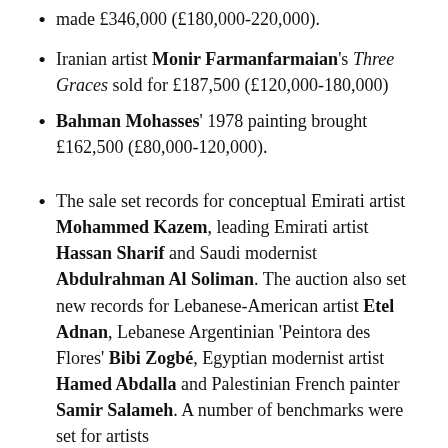made £346,000 (£180,000-220,000).
Iranian artist Monir Farmanfarmaian's Three Graces sold for £187,500 (£120,000-180,000)
Bahman Mohasses' 1978 painting brought £162,500 (£80,000-120,000).
The sale set records for conceptual Emirati artist Mohammed Kazem, leading Emirati artist Hassan Sharif and Saudi modernist Abdulrahman Al Soliman. The auction also set new records for Lebanese-American artist Etel Adnan, Lebanese Argentinian 'Peintora des Flores' Bibi Zogbé, Egyptian modernist artist Hamed Abdalla and Palestinian French painter Samir Salameh. A number of benchmarks were set for artists